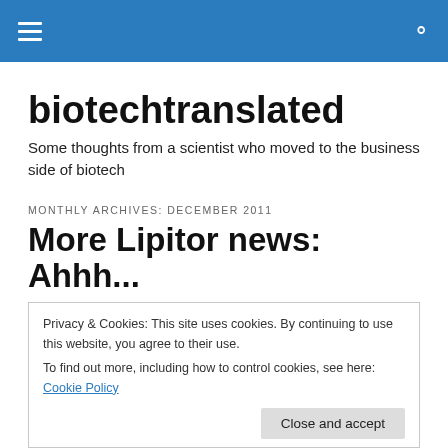biotechtranslated — navigation header with hamburger menu and search icon
biotechtranslated
Some thoughts from a scientist who moved to the business side of biotech
MONTHLY ARCHIVES: DECEMBER 2011
More Lipitor news: Ahhh...
Privacy & Cookies: This site uses cookies. By continuing to use this website, you agree to their use.
To find out more, including how to control cookies, see here: Cookie Policy
just add some interesting tidbits of information